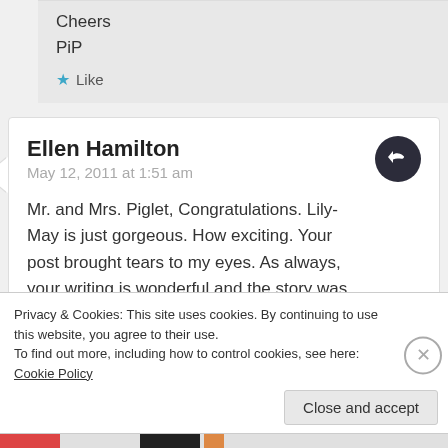Cheers
PiP
Like
Ellen Hamilton
May 12, 2011 at 1:51 am
Mr. and Mrs. Piglet, Congratulations. Lily-May is just gorgeous. How exciting. Your post brought tears to my eyes. As always, your writing is wonderful and the story was gripping. I’m so glad you made it that evening. What happened at home with the electrical
Privacy & Cookies: This site uses cookies. By continuing to use this website, you agree to their use.
To find out more, including how to control cookies, see here: Cookie Policy